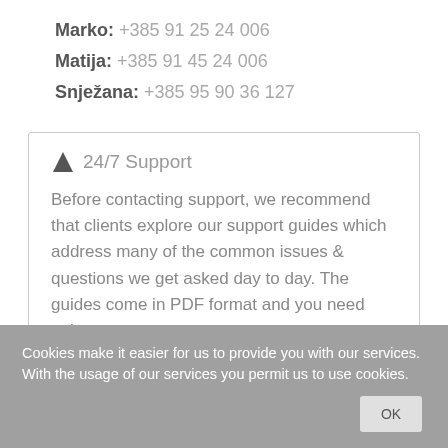Marko: +385 91 25 24 006
Matija: +385 91 45 24 006
Snježana: +385 95 90 36 127
24/7 Support
Before contacting support, we recommend that clients explore our support guides which address many of the common issues & questions we get asked day to day. The guides come in PDF format and you need only contact us.
Ticket System
Cookies make it easier for us to provide you with our services. With the usage of our services you permit us to use cookies.